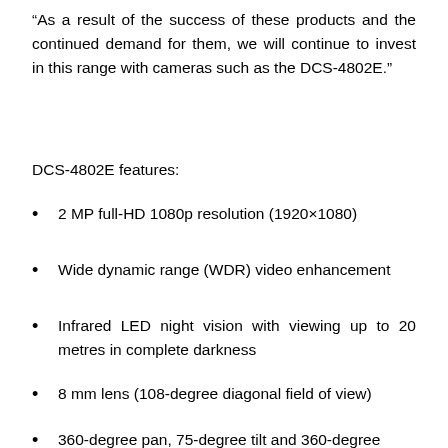“As a result of the success of these products and the continued demand for them, we will continue to invest in this range with cameras such as the DCS-4802E.”
DCS-4802E features:
2 MP full-HD 1080p resolution (1920×1080)
Wide dynamic range (WDR) video enhancement
Infrared LED night vision with viewing up to 20 metres in complete darkness
8 mm lens (108-degree diagonal field of view)
360-degree pan, 75-degree tilt and 360-degree